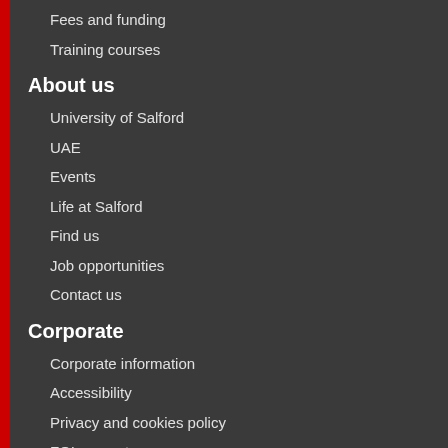Fees and funding
Training courses
About us
University of Salford
UAE
Events
Life at Salford
Find us
Job opportunities
Contact us
Corporate
Corporate information
Accessibility
Privacy and cookies policy
FOI request
Partnerships
Our campus plan
More information